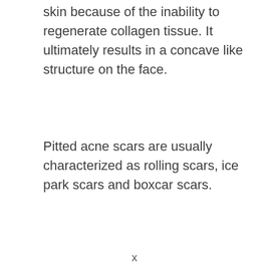skin because of the inability to regenerate collagen tissue. It ultimately results in a concave like structure on the face.
Pitted acne scars are usually characterized as rolling scars, ice park scars and boxcar scars.
x